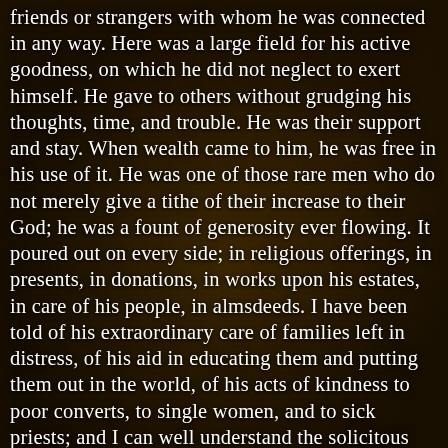friends or strangers with whom he was connected in any way. Here was a large field for his active goodness, on which he did not neglect to exert himself. He gave to others without grudging his thoughts, time, and trouble. He was their support and stay. When wealth came to him, he was free in his use of it. He was one of those rare men who do not merely give a tithe of their increase to their God; he was a fount of generosity ever flowing. It poured out on every side; in religious offerings, in presents, in donations, in works upon his estates, in care of his people, in almsdeeds. I have been told of his extraordinary care of families left in distress, of his aid in educating them and putting them out in the world, of his acts of kindness to poor converts, to single women, and to sick priests; and I can well understand the solicitous and persevering {273} tenderness with which he followed up such benevolences towards them from what I have seen in him myself. He had a very retentive memory for their troubles and their needs. It was his largeness of mind which made him thus open-hearted. As all his plans were on a large scale, so were his private charities. And when an object was public, and required the support of many, then he led the way by a munificent contribution himself. He built one